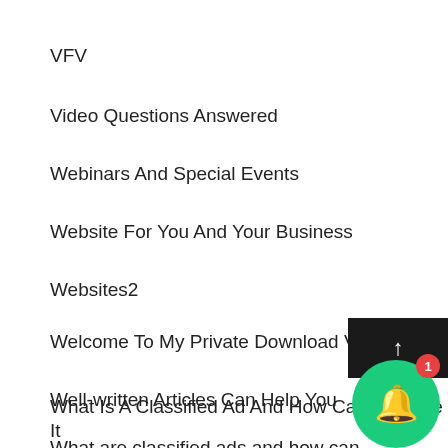VFV
Video Questions Answered
Webinars And Special Events
Website For You And Your Business
Websites2
Welcome To My Private Download Vault
Well-written Articles Can Help You
What are classified ads and how can you place one in Belfast?
What Is A Classified Ad And How Can You Use It